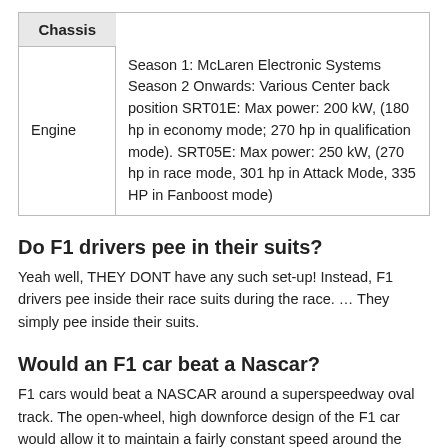| Chassis |
| --- |
| Engine | Season 1: McLaren Electronic Systems Season 2 Onwards: Various Center back position SRT01E: Max power: 200 kW, (180 hp in economy mode; 270 hp in qualification mode). SRT05E: Max power: 250 kW, (270 hp in race mode, 301 hp in Attack Mode, 335 HP in Fanboost mode) |
Do F1 drivers pee in their suits?
Yeah well, THEY DONT have any such set-up! Instead, F1 drivers pee inside their race suits during the race. … They simply pee inside their suits.
Would an F1 car beat a Nascar?
F1 cars would beat a NASCAR around a superspeedway oval track. The open-wheel, high downforce design of the F1 car would allow it to maintain a fairly constant speed around the